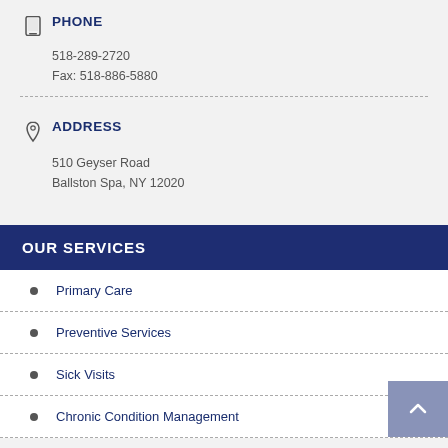PHONE
518-289-2720
Fax: 518-886-5880
ADDRESS
510 Geyser Road
Ballston Spa, NY 12020
OUR SERVICES
Primary Care
Preventive Services
Sick Visits
Chronic Condition Management